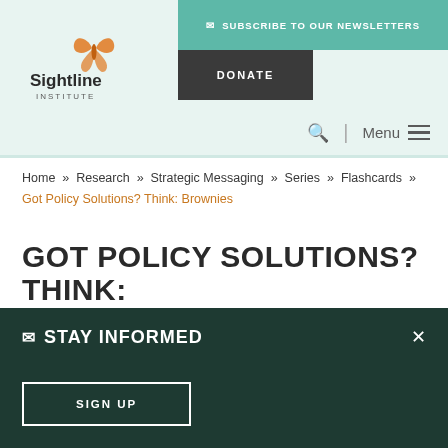[Figure (logo): Sightline Institute logo with orange butterfly and wordmark]
✉ SUBSCRIBE TO OUR NEWSLETTERS
DONATE
🔍 | Menu ☰
Home » Research » Strategic Messaging » Series » Flashcards » Got Policy Solutions? Think: Brownies
GOT POLICY SOLUTIONS? THINK:
✉ STAY INFORMED
Subscribe to our newsletter to get more Strategic Messaging research, analysis, and other policy updates delivered to your inbox
SIGN UP